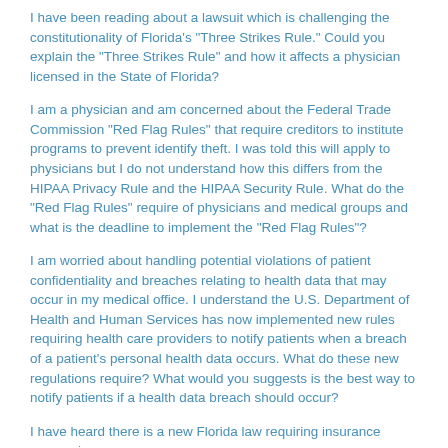I have been reading about a lawsuit which is challenging the constitutionality of Florida's "Three Strikes Rule." Could you explain the "Three Strikes Rule" and how it affects a physician licensed in the State of Florida?
I am a physician and am concerned about the Federal Trade Commission "Red Flag Rules" that require creditors to institute programs to prevent identify theft. I was told this will apply to physicians but I do not understand how this differs from the HIPAA Privacy Rule and the HIPAA Security Rule. What do the "Red Flag Rules" require of physicians and medical groups and what is the deadline to implement the "Red Flag Rules"?
I am worried about handling potential violations of patient confidentiality and breaches relating to health data that may occur in my medical office. I understand the U.S. Department of Health and Human Services has now implemented new rules requiring health care providers to notify patients when a breach of a patient's personal health data occurs. What do these new regulations require? What would you suggests is the best way to notify patients if a health data breach should occur?
I have heard there is a new Florida law requiring insurance companies